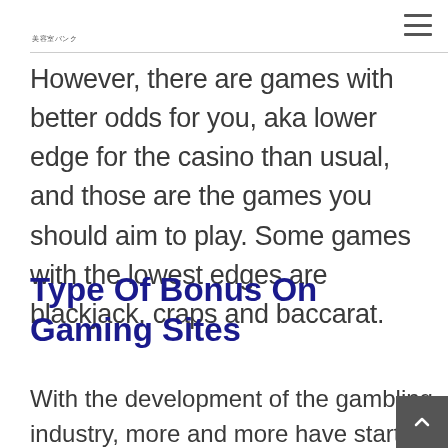美容室バンク
However, there are games with better odds for you, aka lower edge for the casino than usual, and those are the games you should aim to play. Some games with the lowest edges are blackjack, craps and baccarat.
Type Of Bonus On Gaming Sites
With the development of the gambling industry, more and more have started to focus on online gambling...